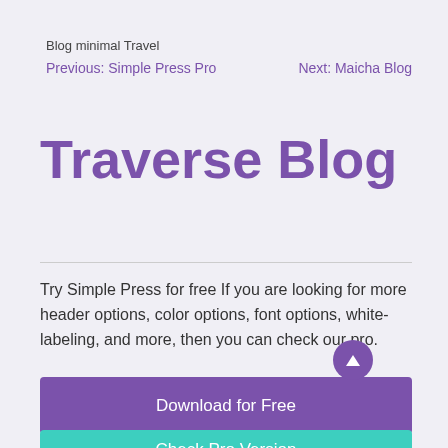Blog minimal Travel
Previous: Simple Press Pro    Next: Maicha Blog
Traverse Blog
Try Simple Press for free If you are looking for more header options, color options, font options, white-labeling, and more, then you can check our pro.
Download for Free
Check Pro Version